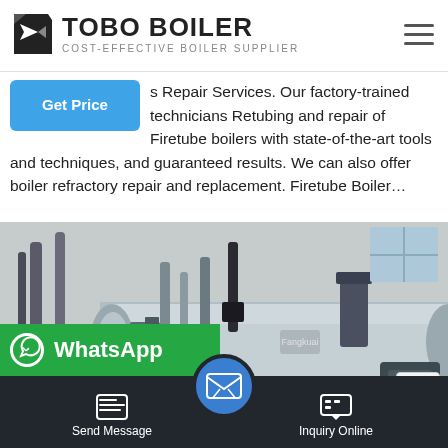TOBO BOILER — COST-EFFECTIVE BOILER SUPPLIER
s Repair Services. Our factory-trained technicians Retubing and repair of Firetube boilers with state-of-the-art tools and techniques, and guaranteed results. We can also offer boiler refractory repair and replacement. Firetube Boiler…
[Figure (photo): Industrial firetube boiler installation in a factory setting, showing a large horizontal cylindrical boiler with pipework and a burner unit]
Send Message | Inquiry Online